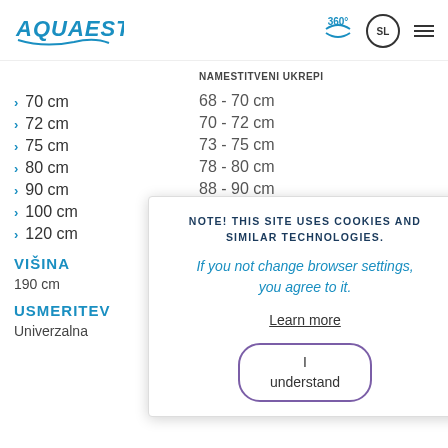AQUAESTIL — website header with 360°, SL, and menu icons
NAMESTITVENI UKREPI
70 cm — 68 - 70 cm
72 cm — 70 - 72 cm
75 cm — 73 - 75 cm
80 cm — 78 - 80 cm
90 cm — 88 - 90 cm
100 cm
120 cm
VIŠINA
190 cm
USMERITEV
Univerzalna
NOTE! THIS SITE USES COOKIES AND SIMILAR TECHNOLOGIES.
If you not change browser settings, you agree to it.
Learn more
I understand